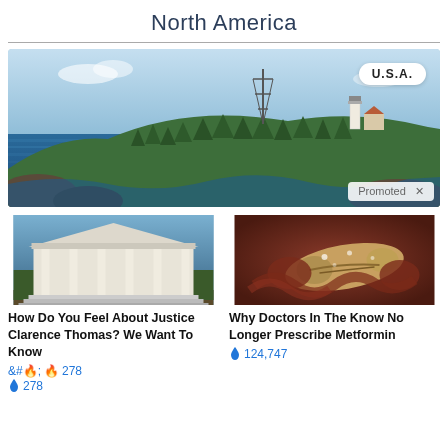North America
[Figure (photo): Scenic coastal photo showing blue water, rocky shoreline, evergreen trees on a peninsula, a lighthouse, and a transmission tower. A 'U.S.A.' badge overlay is shown in the top right, and a 'Promoted X' label at bottom right.]
[Figure (photo): Photo of the U.S. Supreme Court building with white columns and steps under a blue sky.]
How Do You Feel About Justice Clarence Thomas? We Want To Know
🔥 278
[Figure (photo): Medical illustration showing internal anatomy, possibly the pancreas or intestinal organ in reddish tones.]
Why Doctors In The Know No Longer Prescribe Metformin
🔥 124,747